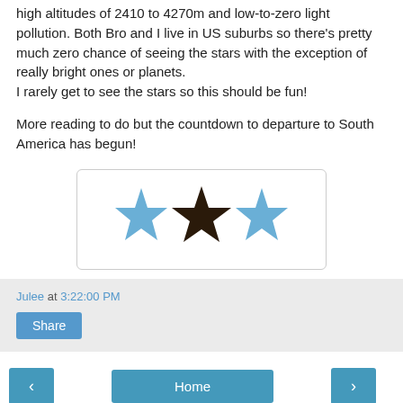high altitudes of 2410 to 4270m and low-to-zero light pollution. Both Bro and I live in US suburbs so there's pretty much zero chance of seeing the stars with the exception of really bright ones or planets.
I rarely get to see the stars so this should be fun!

More reading to do but the countdown to departure to South America has begun!
[Figure (illustration): Three stars in a row inside a rounded rectangle: left star is light blue, middle star is dark brown/black, right star is light blue.]
Julee at 3:22:00 PM
Share
< Home >